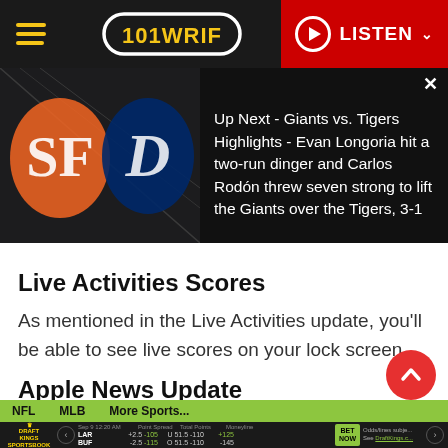101 WRIF — LISTEN
[Figure (screenshot): Ad banner showing San Francisco Giants vs Detroit Tigers logos with overlay text: 'Up Next - Giants vs. Tigers Highlights - Evan Longoria hit a two-run dinger and Carlos Rodón threw seven strong to lift the Giants over the Tigers, 3-1'. Ad label reads 'Ad 1 of 1 (0:30)'.]
Live Activities Scores
As mentioned in the Live Activities update, you'll be able to see live scores on your lock screen.
Apple News Update
[Figure (screenshot): DraftKings Sportsbook sports bar showing NFL, MLB, More Sports... tabs, and matchup LAR vs BUF with spreads +2.5 -105 / -2.5 -115, totals U 51.5 -110 / O 51.5 -110, moneylines +125 / -145, BET NOW button, and partial text 'Odds/lines subje... See DraftKings.c...']